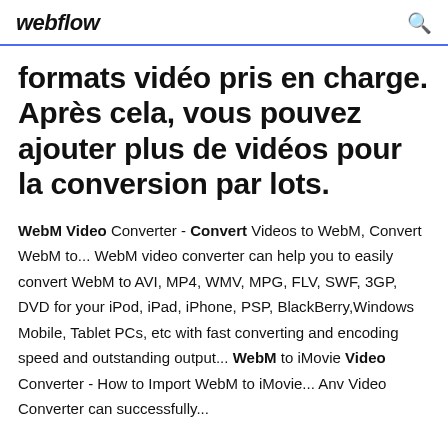webflow
formats vidéo pris en charge. Après cela, vous pouvez ajouter plus de vidéos pour la conversion par lots.
WebM Video Converter - Convert Videos to WebM, Convert WebM to... WebM video converter can help you to easily convert WebM to AVI, MP4, WMV, MPG, FLV, SWF, 3GP, DVD for your iPod, iPad, iPhone, PSP, BlackBerry,Windows Mobile, Tablet PCs, etc with fast converting and encoding speed and outstanding output... WebM to iMovie Video Converter - How to Import WebM to iMovie... Anv Video Converter can successfully...